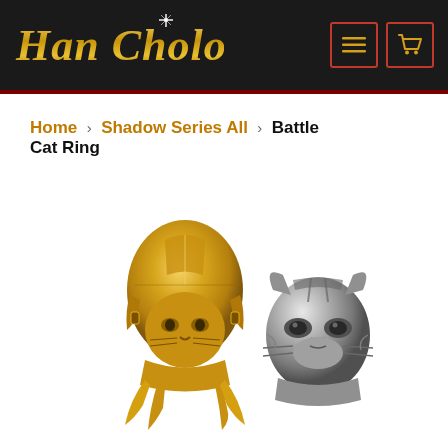Han Cholo
Home > Shadow Series All > Battle Cat Ring
[Figure (photo): Two Battle Cat rings: one gold-colored with a helmeted cat face design and claw-like prongs, one silver-colored with a tiger/panther face design, displayed on a white background.]